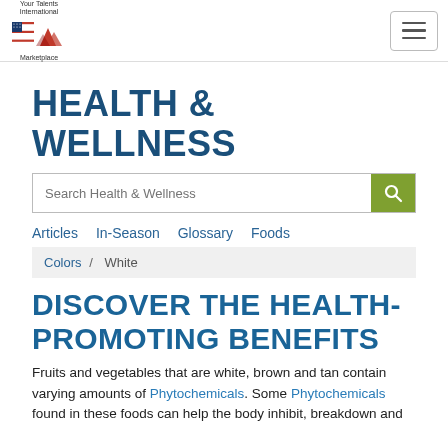[Figure (logo): Your Talents International Marketplace logo with US flag and mountain graphic]
HEALTH & WELLNESS
[Figure (other): Search bar with text 'Search Health & Wellness' and green search button]
Articles
In-Season
Glossary
Foods
Colors / White
DISCOVER THE HEALTH-PROMOTING BENEFITS
Fruits and vegetables that are white, brown and tan contain varying amounts of Phytochemicals. Some Phytochemicals found in these foods can help the body inhibit, breakdown and